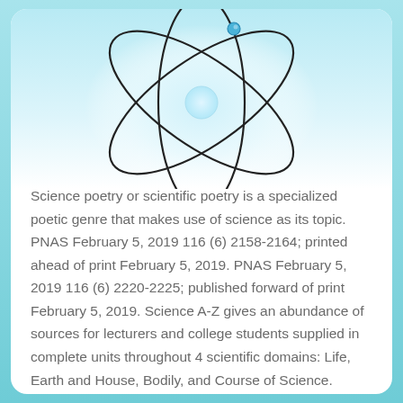[Figure (illustration): Atomic model illustration: three elliptical orbital rings intersecting around a central glowing sphere, with a small blue dot (electron) on the top ring. Light blue radial glow behind the atom against a white/light-blue gradient background.]
Science poetry or scientific poetry is a specialized poetic genre that makes use of science as its topic. PNAS February 5, 2019 116 (6) 2158-2164; printed ahead of print February 5, 2019. PNAS February 5, 2019 116 (6) 2220-2225; published forward of print February 5, 2019. Science A-Z gives an abundance of sources for lecturers and college students supplied in complete units throughout 4 scientific domains: Life, Earth and House, Bodily, and Course of Science.